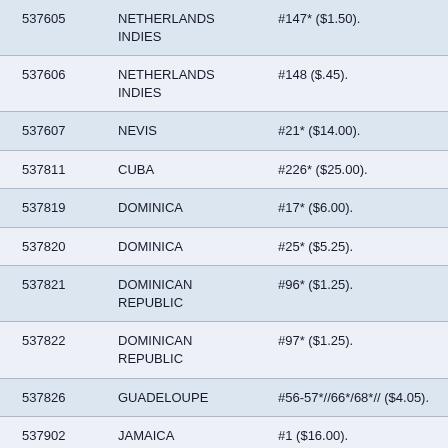| 537605 | NETHERLANDS INDIES | #147* ($1.50). |
| 537606 | NETHERLANDS INDIES | #148 ($.45). |
| 537607 | NEVIS | #21* ($14.00). |
| 537811 | CUBA | #226* ($25.00). |
| 537819 | DOMINICA | #17* ($6.00). |
| 537820 | DOMINICA | #25* ($5.25). |
| 537821 | DOMINICAN REPUBLIC | #96* ($1.25). |
| 537822 | DOMINICAN REPUBLIC | #97* ($1.25). |
| 537826 | GUADELOUPE | #56-57*//66*/68*// ($4.05). |
| 537902 | JAMAICA | #1 ($16.00). |